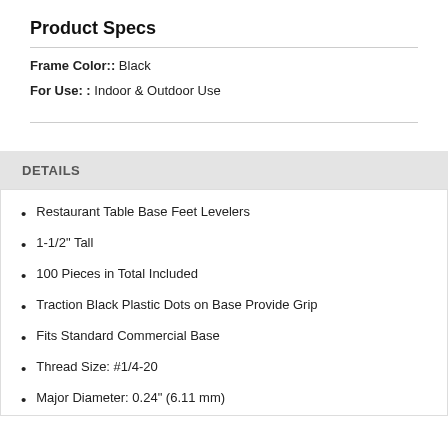Product Specs
Frame Color:: Black
For Use: : Indoor & Outdoor Use
DETAILS
Restaurant Table Base Feet Levelers
1-1/2" Tall
100 Pieces in Total Included
Traction Black Plastic Dots on Base Provide Grip
Fits Standard Commercial Base
Thread Size: #1/4-20
Major Diameter: 0.24" (6.11 mm)